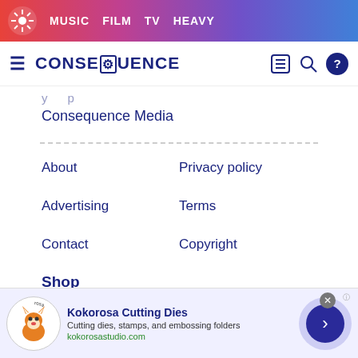MUSIC  FILM  TV  HEAVY
CONSEQUENCE
Consequence Media
About
Privacy policy
Advertising
Terms
Contact
Copyright
Shop
Face Masks
T Shirts
[Figure (infographic): Advertisement banner for Kokorosa Cutting Dies showing logo with fox character, title, description and URL]
Kokorosa Cutting Dies — Cutting dies, stamps, and embossing folders — kokorosastudio.com